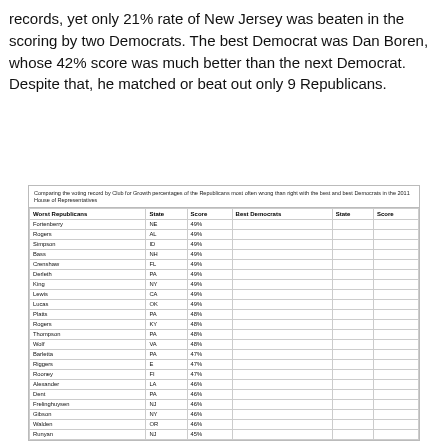records, yet only 21% rate of New Jersey was beaten in the scoring by two Democrats. The best Democrat was Dan Boren, whose 42% score was much better than the next Democrat. Despite that, he matched or beat out only 9 Republicans.
Comparing the voting record by Club for Growth percentages of the Republicans most often wrong than right with the best and best Democrats in the 2011 House of Representatives
| Worst Republicans | State | Score | Best Democrats | State | Score |
| --- | --- | --- | --- | --- | --- |
| Fortenberry | NE | 49% |  |  |  |
| Rogers | AL | 49% |  |  |  |
| Simpson | ID | 49% |  |  |  |
| Bass | NH | 49% |  |  |  |
| Crenshaw | FL | 49% |  |  |  |
| Derleth | PA | 49% |  |  |  |
| King | NY | 49% |  |  |  |
| Lewis | CA | 49% |  |  |  |
| Lucas | OK | 49% |  |  |  |
| Platts | PA | 48% |  |  |  |
| Rogers | KY | 48% |  |  |  |
| Thompson | PA | 48% |  |  |  |
| Wolf | VA | 48% |  |  |  |
| Barletta | PA | 47% |  |  |  |
| Riggers | E | 47% |  |  |  |
| Rooney | FI | 47% |  |  |  |
| Alexander | LA | 46% |  |  |  |
| Dent | PA | 46% |  |  |  |
| Frelinghuysen | NJ | 46% |  |  |  |
| Gibson | NY | 46% |  |  |  |
| Walden | OR | 46% |  |  |  |
| Runyan | NJ | 45% |  |  |  |